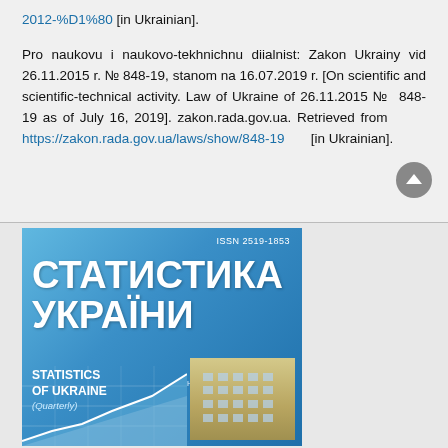2012-%D1%80 [in Ukrainian].

Pro naukovu i naukovo-tekhnichnu diialnist: Zakon Ukrainy vid 26.11.2015 r. № 848-19, stanom na 16.07.2019 r. [On scientific and scientific-technical activity. Law of Ukraine of 26.11.2015 № 848-19 as of July 16, 2019]. zakon.rada.gov.ua. Retrieved from https://zakon.rada.gov.ua/laws/show/848-19 [in Ukrainian].
[Figure (photo): Cover of the journal 'Statistyka Ukrainy / Statistics of Ukraine', ISSN 2519-1853, a quarterly scientific-informational journal. Cover features the journal title in Ukrainian (СТАТИСТИКА УКРАЇНИ) and English (STATISTICS OF UKRAINE), with an image of a building and a statistical graph.]